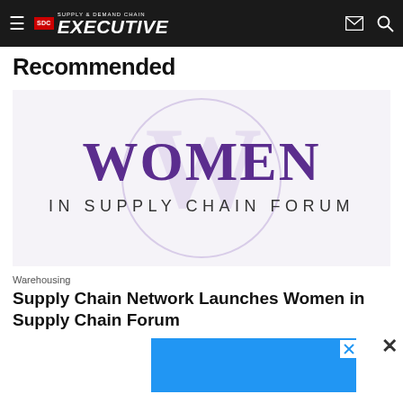Supply & Demand Chain Executive
Recommended
[Figure (logo): Women in Supply Chain Forum logo: large purple serif text 'WOMEN' above 'IN SUPPLY CHAIN FORUM' on a light purple/white background with a faint circular watermark]
Warehousing
Supply Chain Network Launches Women in Supply Chain Forum